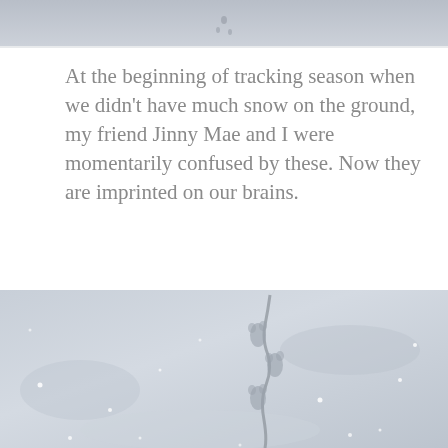[Figure (photo): Partial view of animal tracks in snow, top portion cropped]
At the beginning of tracking season when we didn't have much snow on the ground, my friend Jinny Mae and I were momentarily confused by these. Now they are imprinted on our brains.
[Figure (photo): Close-up photograph of animal tracks in sparkling snow, showing footprint impressions in a snowy surface with light glistening off snow crystals]